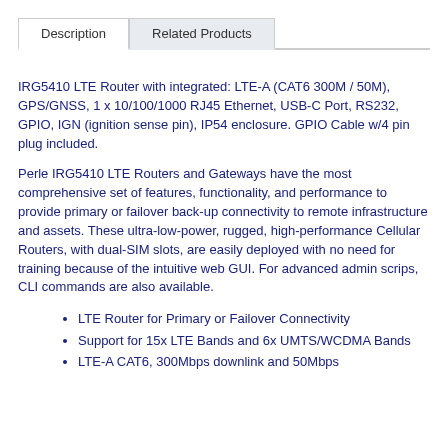Description | Related Products
IRG5410 LTE Router with integrated: LTE-A (CAT6 300M / 50M), GPS/GNSS, 1 x 10/100/1000 RJ45 Ethernet, USB-C Port, RS232, GPIO, IGN (ignition sense pin), IP54 enclosure. GPIO Cable w/4 pin plug included.
Perle IRG5410 LTE Routers and Gateways have the most comprehensive set of features, functionality, and performance to provide primary or failover back-up connectivity to remote infrastructure and assets. These ultra-low-power, rugged, high-performance Cellular Routers, with dual-SIM slots, are easily deployed with no need for training because of the intuitive web GUI. For advanced admin scrips, CLI commands are also available.
LTE Router for Primary or Failover Connectivity
Support for 15x LTE Bands and 6x UMTS/WCDMA Bands
LTE-A CAT6, 300Mbps downlink and 50Mbps